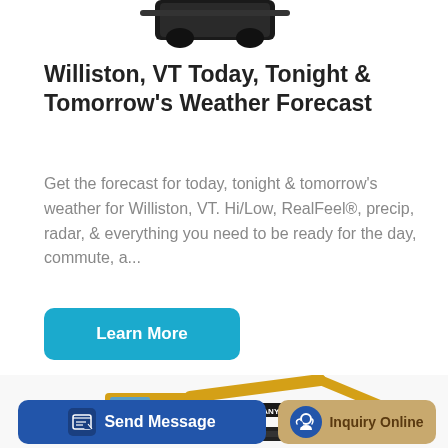[Figure (photo): Partial view of a dark machine/equipment at top of page]
Williston, VT Today, Tonight & Tomorrow's Weather Forecast
Get the forecast for today, tonight & tomorrow's weather for Williston, VT. Hi/Low, RealFeel®, precip, radar, & everything you need to be ready for the day, commute, a...
[Figure (other): Learn More button - teal/blue rounded rectangle button]
[Figure (photo): Yellow SANY excavator construction equipment, bottom portion of page]
[Figure (other): Send Message button - dark blue rounded rectangle with document icon]
[Figure (other): Inquiry Online button - tan/gold rounded rectangle with blue headset icon]